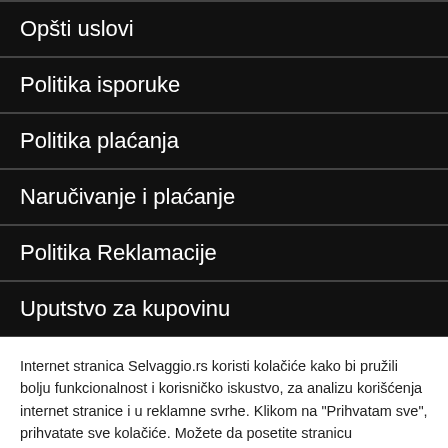Opšti uslovi
Politika isporuke
Politika plaćanja
Naručivanje i plaćanje
Politika Reklamacije
Uputstvo za kupovinu
Internet stranica Selvaggio.rs koristi kolačiće kako bi pružili bolju funkcionalnost i korisničko iskustvo, za analizu korišćenja internet stranice i u reklamne svrhe. Klikom na "Prihvatam sve", prihvatate sve kolačiće. Možete da posetite stranicu "Podešavanja" kako bi izvršili .
Podešavanja | Prihvatam sve